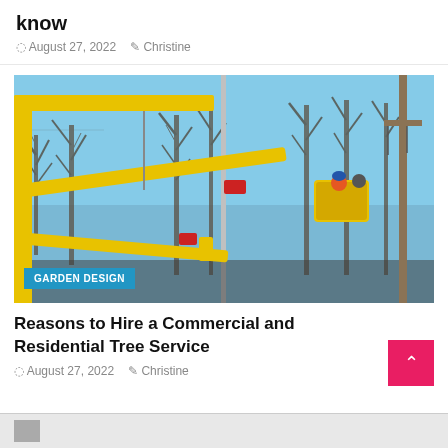know
August 27, 2022   Christine
[Figure (photo): Worker in a cherry picker / bucket truck with yellow boom arms trimming or inspecting trees. Bare winter trees visible in background with blue sky. Yellow utility equipment prominent in foreground.]
GARDEN DESIGN
Reasons to Hire a Commercial and Residential Tree Service
August 27, 2022   Christine